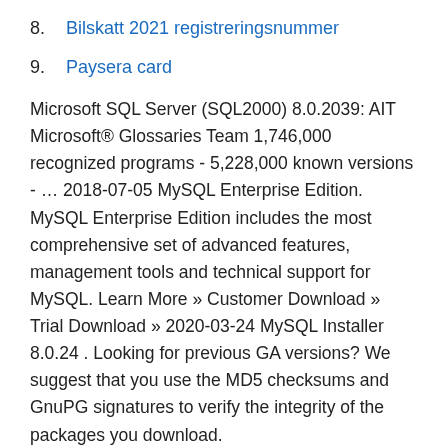8. Bilskatt 2021 registreringsnummer
9. Paysera card
Microsoft SQL Server (SQL2000) 8.0.2039: AIT Microsoft® Glossaries Team 1,746,000 recognized programs - 5,228,000 known versions - … 2018-07-05 MySQL Enterprise Edition. MySQL Enterprise Edition includes the most comprehensive set of advanced features, management tools and technical support for MySQL. Learn More » Customer Download » Trial Download » 2020-03-24 MySQL Installer 8.0.24 . Looking for previous GA versions? We suggest that you use the MD5 checksums and GnuPG signatures to verify the integrity of the packages you download.